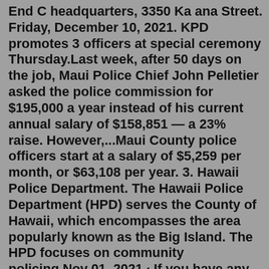End C headquarters, 3350 Ka ana Street. Friday, December 10, 2021. KPD promotes 3 officers at special ceremony Thursday.Last week, after 50 days on the job, Maui Police Chief John Pelletier asked the police commission for $195,000 a year instead of his current annual salary of $158,851 — a 23% raise. However,...Maui County police officers start at a salary of $5,259 per month, or $63,108 per year. 3. Hawaii Police Department. The Hawaii Police Department (HPD) serves the County of Hawaii, which encompasses the area popularly known as the Big Island. The HPD focuses on community policing.Nov 01, 2021 · If you have any questions on the job posting or your application, please call the Department of Personnel Services at (808) 270-7850. If you are unable to login to your account, please click "Menu" on the upper left corner and select "Help & Support" or call NeoGov/Government job customer service hotline at (855) 524-5627. Jun 09, 2022 · $3167 per month County Of Maui. is distinguished by its responsibility for performing a variety of civilian